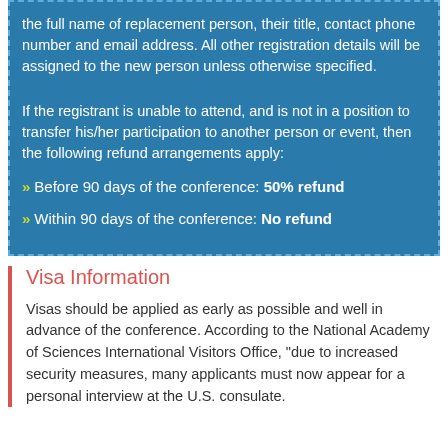the full name of replacement person, their title, contact phone number and email address. All other registration details will be assigned to the new person unless otherwise specified.
If the registrant is unable to attend, and is not in a position to transfer his/her participation to another person or event, then the following refund arrangements apply:
Before 90 days of the conference: 50% refund
Within 90 days of the conference: No refund
Visa Information
Visas should be applied as early as possible and well in advance of the conference. According to the National Academy of Sciences International Visitors Office, "due to increased security measures, many applicants must now appear for a personal interview at the U.S. consulate.